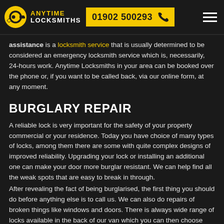ANYTIME LOCKSMITHS 01902 500293
assistance is a locksmith service that is usually determined to be considered an emergency locksmith service which is, necessarily, 24-hours work. Anytime Locksmiths in your area can be booked over the phone or, if you want to be called back, via our online form, at any moment.
BURGLARY REPAIR
A reliable lock is very important for the safety of your property commercial or your residence. Today you have choice of many types of locks, among them there are some with quite complex designs of improved reliability. Upgrading your lock or installing an additional one can make your door more burglar resistant. We can help find all the weak spots that are easy to break in through.
After revealing the fact of being burglarised, the first thing you should do before anything else is to call us. We can also do repairs of broken things like windows and doors. There is always wide range of locks available in the back of our van which you can then choose from to replace any broken ones that may have been damaged.